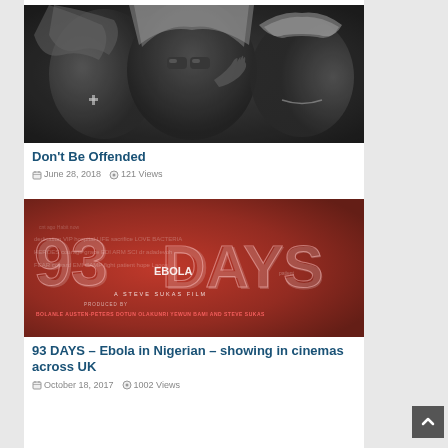[Figure (photo): Black and white photo of three men in hooded outfits, one wearing sunglasses and a cross necklace]
Don't Be Offended
June 28, 2018   121 Views
[Figure (photo): Movie poster for '93 DAYS' - A Steve Sukas Film about Ebola in Nigeria, red background with large text '93 DAYS' made of words]
93 DAYS – Ebola in Nigerian – showing in cinemas across UK
October 18, 2017   1002 Views